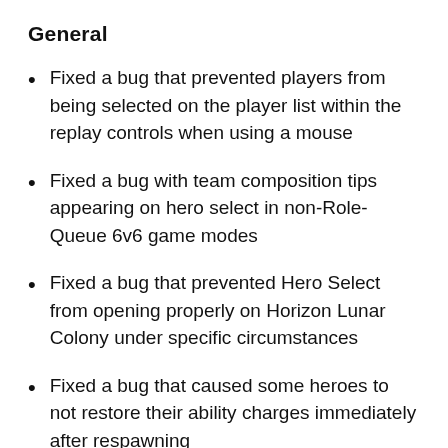General
Fixed a bug that prevented players from being selected on the player list within the replay controls when using a mouse
Fixed a bug with team composition tips appearing on hero select in non-Role-Queue 6v6 game modes
Fixed a bug that prevented Hero Select from opening properly on Horizon Lunar Colony under specific circumstances
Fixed a bug that caused some heroes to not restore their ability charges immediately after respawning
Fixed a bug that caused voice lines found in Loot